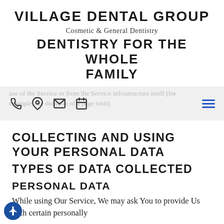VILLAGE DENTAL GROUP
Cosmetic & General Dentistry
DENTISTRY FOR THE WHOLE FAMILY
use of the Service or from the Service infrastructure itself (for example, the duration of a page visit).
COLLECTING AND USING YOUR PERSONAL DATA
TYPES OF DATA COLLECTED
PERSONAL DATA
While using Our Service, We may ask You to provide Us with certain personally